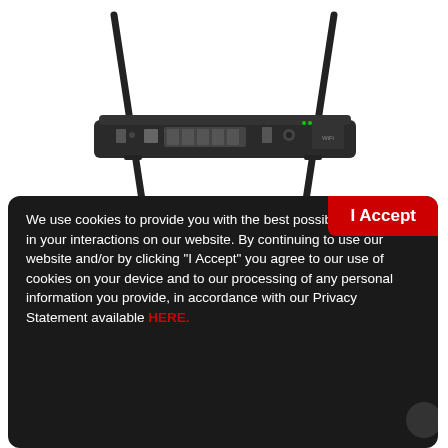[Figure (photo): A black wireless router with two antennas, viewed from the rear, showing ports and connectors on a white background.]
We use cookies to provide you with the best possible experience in your interactions on our website. By continuing to use our website and/or by clicking "I Accept" you agree to our use of cookies on your device and to our processing of any personal information you provide, in accordance with our Privacy Statement available HERE.